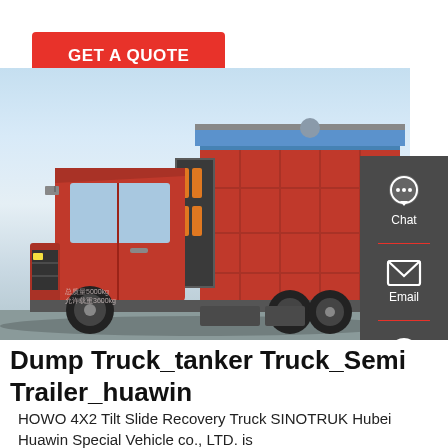GET A QUOTE
[Figure (photo): Red HOWO 4X2 tilt slide recovery truck with large red dump body, photographed outdoors. A sidebar panel with Chat, Email, and Contact icons is overlaid on the right edge.]
Dump Truck_tanker Truck_Semi Trailer_huawin
HOWO 4X2 Tilt Slide Recovery Truck SINOTRUK Hubei Huawin Special Vehicle co., LTD. is